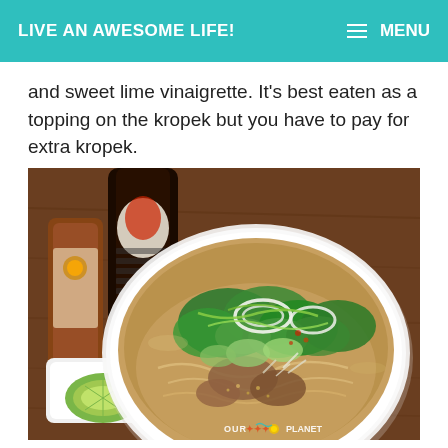LIVE AN AWESOME LIFE!
and sweet lime vinaigrette. It's best eaten as a topping on the kropek but you have to pay for extra kropek.
[Figure (photo): A bowl of pho or noodle soup with green vegetables, onions, meat, and broth, served alongside a small dish with lime wedges. A Sriracha bottle and a small sauce bottle are visible in the background on a wooden table. Watermark reads OUR [logo] PLANET.]